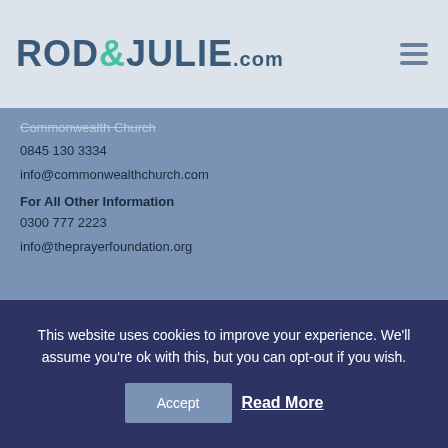ROD&JULIE.com
Commonwealth Church
0845 130 3334
info@commonwealthchurch.com
For All Other Information
0300 777 2223
info@theprayerfoundation.org
Find It Quick
Type and hit ENTER
This website uses cookies to improve your experience. We'll assume you're ok with this, but you can opt-out if you wish.
Accept
Read More